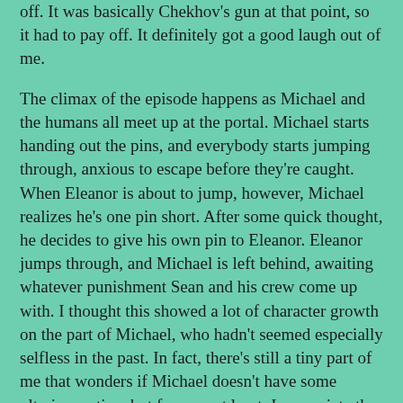off. It was basically Chekhov's gun at that point, so it had to pay off. It definitely got a good laugh out of me.
The climax of the episode happens as Michael and the humans all meet up at the portal. Michael starts handing out the pins, and everybody starts jumping through, anxious to escape before they're caught. When Eleanor is about to jump, however, Michael realizes he's one pin short. After some quick thought, he decides to give his own pin to Eleanor. Eleanor jumps through, and Michael is left behind, awaiting whatever punishment Sean and his crew come up with. I thought this showed a lot of character growth on the part of Michael, who hadn't seemed especially selfless in the past. In fact, there's still a tiny part of me that wonders if Michael doesn't have some ulterior motive, but for now at least, I appreciate the sacrifice.
Jen the TV Junkie at 8:53 PM
No comments:
Post a Comment